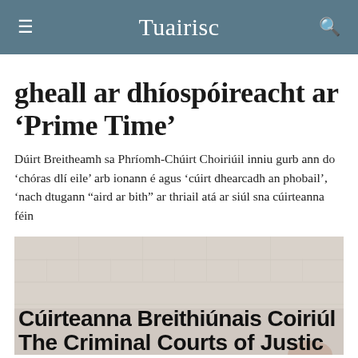Tuairisc
gheall ar dhíospóireacht ar ‘Prime Time’
Dúirt Breitheamh sa Phríomh-Chúirt Choiriúil inniu gurb ann do ‘chóras dlí eile’ arb ionann é agus ‘cúirt dhearcadh an phobail’, ‘nach dtugann “aird ar bith” ar thriail atá ar siúl sna cúirteanna féin
[Figure (photo): Photo of the Criminal Courts of Justice building with text overlay reading 'Cúirteanna Breithiúnais Coiriúl' and 'The Criminal Courts of Justic']